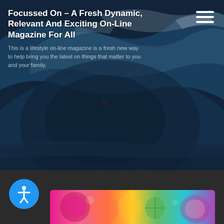[Figure (photo): Hero image of a surfer inside a large ocean wave, dark blue-teal tones with dramatic curl]
Focussed On – A Fresh Dynamic, Relevant And Exciting On-Line Magazine For All
This is a lifestyle on-line magazine is a fresh new way to help bring you the latest on things that matter to you and your family.
REFRESHING BERRY SMOOTHIES
[Figure (photo): Preview of colorful berry smoothies at the bottom of the page]